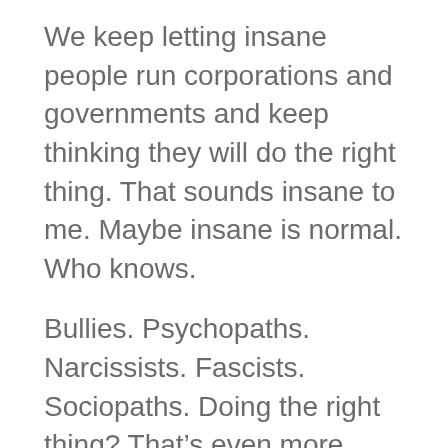We keep letting insane people run corporations and governments and keep thinking they will do the right thing. That sounds insane to me. Maybe insane is normal. Who knows.
Bullies. Psychopaths. Narcissists. Fascists. Sociopaths. Doing the right thing? That’s even more ridiculous than thinking ‘normal people’ will do the right thing.
Let’s not forget idiots.
We’re all idiots who have no idea what we are doing.
If we hold true to form, we won’t even think about starting to think about getting